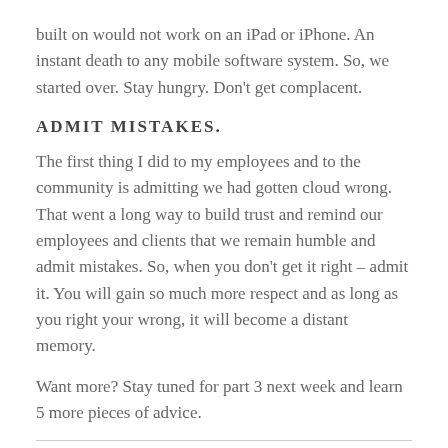built on would not work on an iPad or iPhone. An instant death to any mobile software system. So, we started over. Stay hungry. Don't get complacent.
ADMIT MISTAKES.
The first thing I did to my employees and to the community is admitting we had gotten cloud wrong. That went a long way to build trust and remind our employees and clients that we remain humble and admit mistakes. So, when you don't get it right – admit it. You will gain so much more respect and as long as you right your wrong, it will become a distant memory.
Want more? Stay tuned for part 3 next week and learn 5 more pieces of advice.
John Harms, Founder & CEO of Millennium Systems International, has been designing award-winning